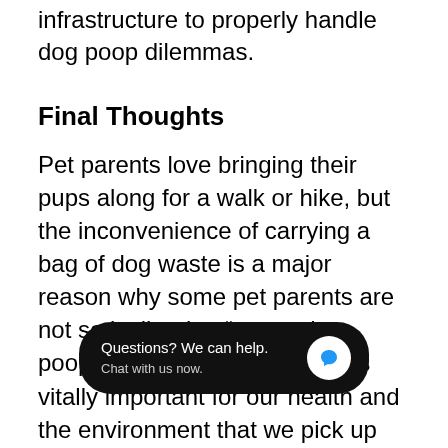infrastructure to properly handle dog poop dilemmas.
Final Thoughts
Pet parents love bringing their pups along for a walk or hike, but the inconvenience of carrying a bag of dog waste is a major reason why some pet parents are not so inclined to “scoop the poop.” However, as shown, it is vitally important for our health and the environment that we pick up after our dogs and dispose of waste properly. By observing where waste stations are l[...] xtra waste bags, pet pa[...] active about picking up after their dogs. Additionally...